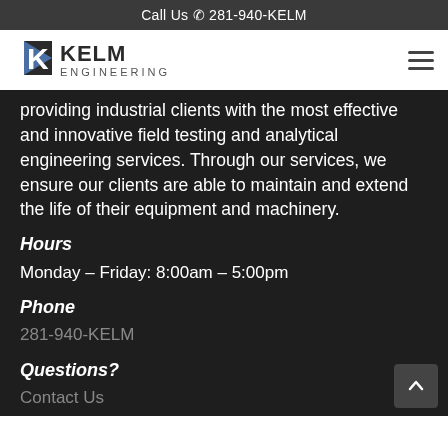Call Us 281-940-KELM
[Figure (logo): Kelm Engineering logo with stylized K and triangle in blue/gray, text KELM ENGINEERING]
providing industrial clients with the most effective and innovative field testing and analytical engineering services. Through our services, we ensure our clients are able to maintain and extend the life of their equipment and machinery.
Hours
Monday – Friday: 8:00am – 5:00pm
Phone
281-940-KELM
Questions?
Contact Us